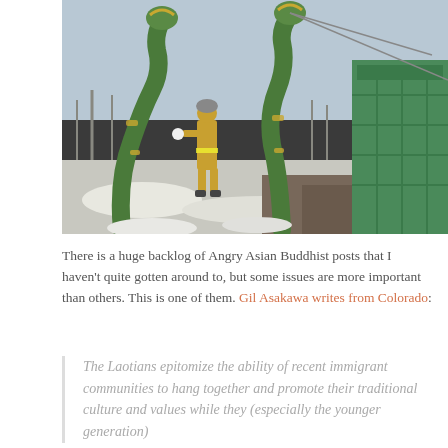[Figure (photo): A firefighter in yellow gear walks between two large green and gold Naga (serpent) statues at a Buddhist temple in a snowy winter landscape. A green temple structure is visible in the background.]
There is a huge backlog of Angry Asian Buddhist posts that I haven't quite gotten around to, but some issues are more important than others. This is one of them. Gil Asakawa writes from Colorado:
The Laotians epitomize the ability of recent immigrant communities to hang together and promote their traditional culture and values while they (especially the younger generation)